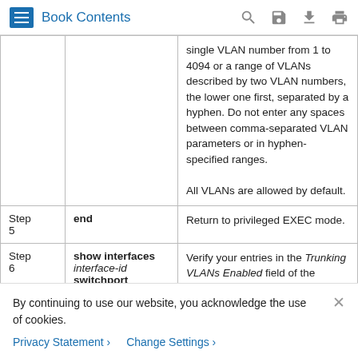Book Contents
| Step | Command | Description |
| --- | --- | --- |
|  |  | single VLAN number from 1 to 4094 or a range of VLANs described by two VLAN numbers, the lower one first, separated by a hyphen. Do not enter any spaces between comma-separated VLAN parameters or in hyphen-specified ranges.
All VLANs are allowed by default. |
| Step 5 | end | Return to privileged EXEC mode. |
| Step 6 | show interfaces interface-id switchport | Verify your entries in the Trunking VLANs Enabled field of the display. |
By continuing to use our website, you acknowledge the use of cookies.
Privacy Statement > Change Settings >